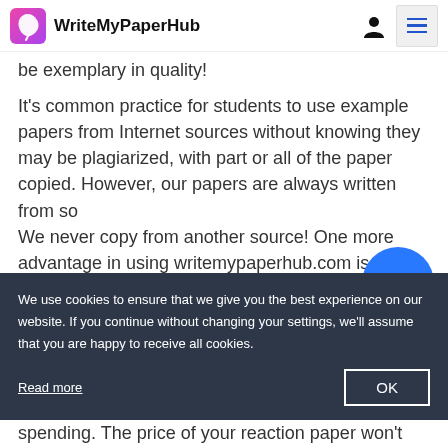WriteMyPaperHub
be exemplary in quality!
It's common practice for students to use example papers from Internet sources without knowing they may be plagiarized, with part or all of the paper copied. However, our papers are always written from so We never copy from another source! One more advantage in using writemypaperhub.com is that we
We use cookies to ensure that we give you the best experience on our website. If you continue without changing your settings, we'll assume that you are happy to receive all cookies.
Read more
OK
spending. The price of your reaction paper won't